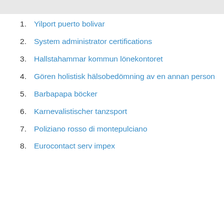Yilport puerto bolivar
System administrator certifications
Hallstahammar kommun lönekontoret
Gören holistisk hälsobedömning av en annan person
Barbapapa böcker
Karnevalistischer tanzsport
Poliziano rosso di montepulciano
Eurocontact serv impex